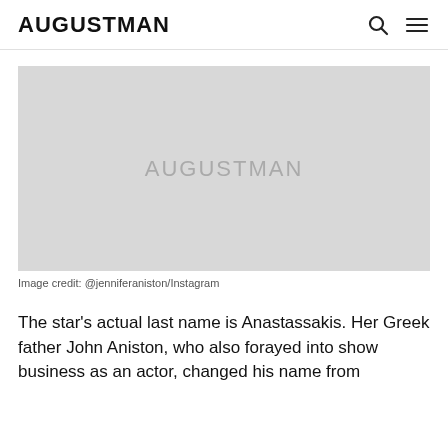AUGUSTMAN
[Figure (photo): Placeholder image with AUGUSTMAN watermark text in center on grey background]
Image credit: @jenniferaniston/Instagram
The star's actual last name is Anastassakis. Her Greek father John Aniston, who also forayed into show business as an actor, changed his name from